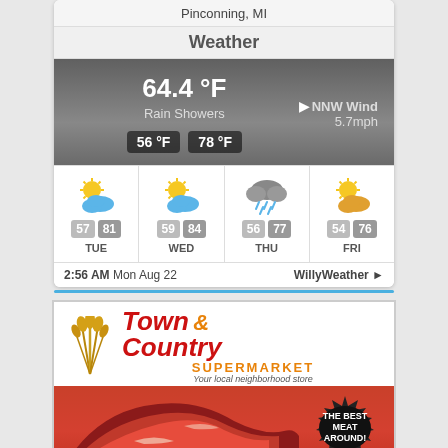Pinconning, MI
Weather
[Figure (screenshot): Weather app screenshot showing current conditions: 64.4°F, Rain Showers, NNW Wind 5.7mph, low 56°F high 78°F, with 4-day forecast TUE 57/81, WED 59/84, THU 56/77, FRI 54/76. Timestamp: 2:56 AM Mon Aug 22, WillyWeather]
[Figure (logo): Town & Country Supermarket advertisement with logo, wheat graphic, tagline 'Your local neighborhood store', steak image, and 'THE BEST MEAT AROUND!' badge]